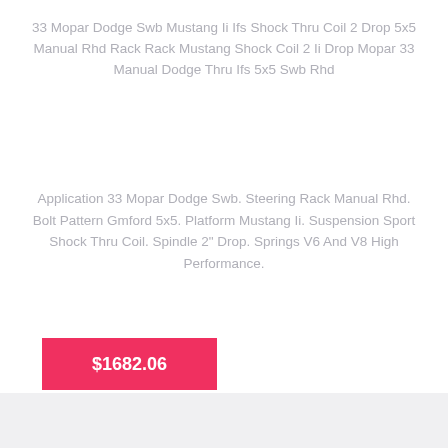33 Mopar Dodge Swb Mustang Ii Ifs Shock Thru Coil 2 Drop 5x5 Manual Rhd Rack Rack Mustang Shock Coil 2 Ii Drop Mopar 33 Manual Dodge Thru Ifs 5x5 Swb Rhd
Application 33 Mopar Dodge Swb. Steering Rack Manual Rhd. Bolt Pattern Gmford 5x5. Platform Mustang Ii. Suspension Sport Shock Thru Coil. Spindle 2" Drop. Springs V6 And V8 High Performance.
$1682.06